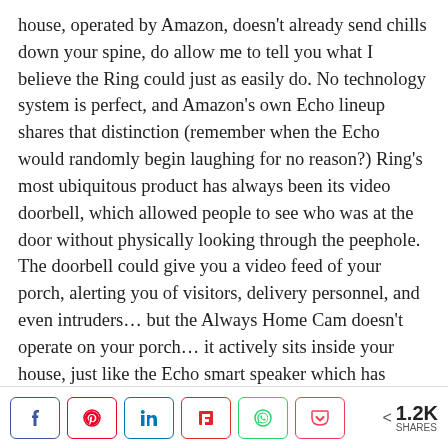house, operated by Amazon, doesn't already send chills down your spine, do allow me to tell you what I believe the Ring could just as easily do. No technology system is perfect, and Amazon's own Echo lineup shares that distinction (remember when the Echo would randomly begin laughing for no reason?) Ring's most ubiquitous product has always been its video doorbell, which allowed people to see who was at the door without physically looking through the peephole. The doorbell could give you a video feed of your porch, alerting you of visitors, delivery personnel, and even intruders… but the Always Home Cam doesn't operate on your porch… it actively sits inside your house, just like the Echo smart speaker which has already demonstrated its ability to spy on you by listening to you at all times. The Always Home Cam now gives Amazon a pair of eyes inside your home… and
[Figure (other): Social share bar with buttons for Facebook, Pinterest, LinkedIn, Flipboard, WhatsApp, Pocket, and a share count showing 1.2K SHARES]